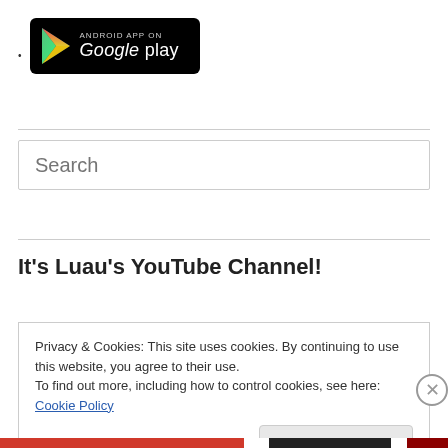Google Play badge (Android App on Google Play)
[Figure (logo): Android App on Google Play badge - black rounded rectangle with Play Store triangle icon and text 'ANDROID APP ON Google play']
Search
It's Luau's YouTube Channel!
Privacy & Cookies: This site uses cookies. By continuing to use this website, you agree to their use.
To find out more, including how to control cookies, see here: Cookie Policy
Close and accept